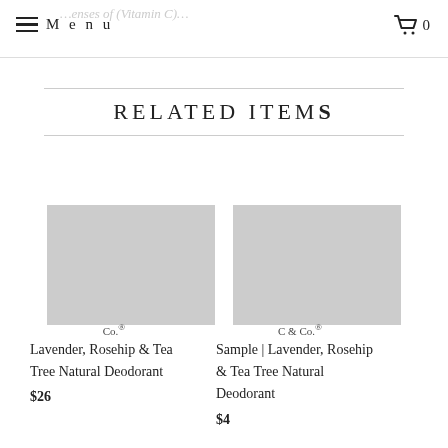Menu | Cart 0
RELATED ITEMS
[Figure (photo): Product image placeholder (light gray rectangle) for Lavender, Rosehip & Tea Tree Natural Deodorant]
Co.®
Lavender, Rosehip & Tea Tree Natural Deodorant
$26
[Figure (photo): Product image placeholder (light gray rectangle) for Sample | Lavender, Rosehip & Tea Tree Natural Deodorant]
C & Co.®
Sample | Lavender, Rosehip & Tea Tree Natural Deodorant
$4